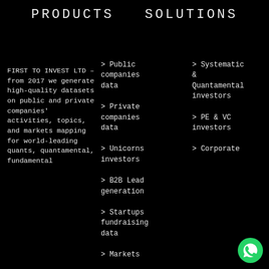PRODUCTS   SOLUTIONS
FIRST TO INVEST LTD – from 2017 we generate high-quality datasets on public and private companies' activities, topics, and markets mapping for world-leading quants, quantamental, fundamental
> Public companies data
> Private companies data
> Unicorns investors
> B2B Lead generation
> Startups fundraising data
> Markets
> Systematic & Quantamental investors
> PE & VC investors
> Corporate
[Figure (logo): WhatsApp green circle logo icon in bottom right corner]